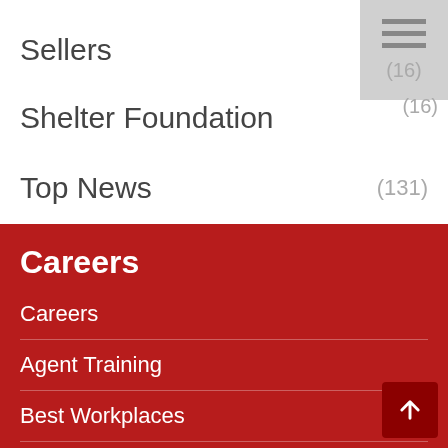Sellers (16)
Shelter Foundation (16)
Top News (131)
Careers
Careers
Agent Training
Best Workplaces
We're Recruiting!